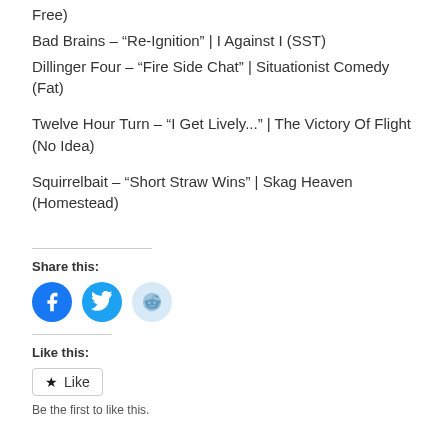Free)
Bad Brains – “Re-Ignition” | I Against I (SST)
Dillinger Four – “Fire Side Chat” | Situationist Comedy (Fat)
Twelve Hour Turn – “I Get Lively...” | The Victory Of Flight (No Idea)
Squirrelbait – “Short Straw Wins” | Skag Heaven (Homestead)
Share this:
[Figure (infographic): Social sharing icons: Facebook (blue circle), Twitter (blue circle), Reddit (light blue circle)]
Like this:
Like
Be the first to like this.